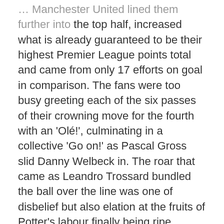… Manchester United lined them further into the top half, increased what is already guaranteed to be their highest Premier League points total and came from only 17 efforts on goal in comparison. The fans were too busy greeting each of the six passes of their crowning move for the fourth with an 'Olé!', culminating in a collective 'Go on!' as Pascal Gross slid Danny Welbeck in. The roar that came as Leandro Trossard bundled the ball over the line was one of disbelief but also elation at the fruits of Potter's labour finally being ripe enough to pick. Seven unanswered goals against the teams in 6th and 8th will do for a side lurking ominously in 9th, whose ceiling is still not in full view.